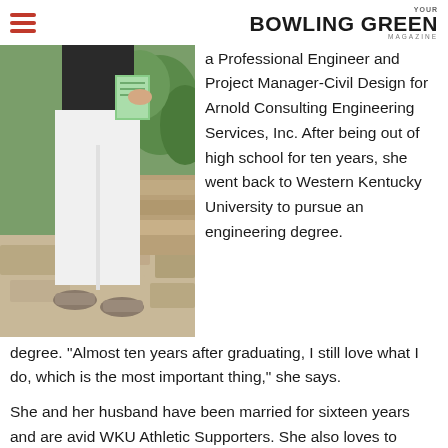BOWLING GREEN
[Figure (photo): Photo of a woman from torso down wearing white jeans and gray slip-on shoes, standing on a stone patio with greenery in the background, holding a book or magazine.]
a Professional Engineer and Project Manager-Civil Design for Arnold Consulting Engineering Services, Inc. After being out of high school for ten years, she went back to Western Kentucky University to pursue an engineering degree. "Almost ten years after graduating, I still love what I do, which is the most important thing," she says.
She and her husband have been married for sixteen years and are avid WKU Athletic Supporters. She also loves to travel. "I'm a firm believer that you must work hard but you must also vacation hard," she says.